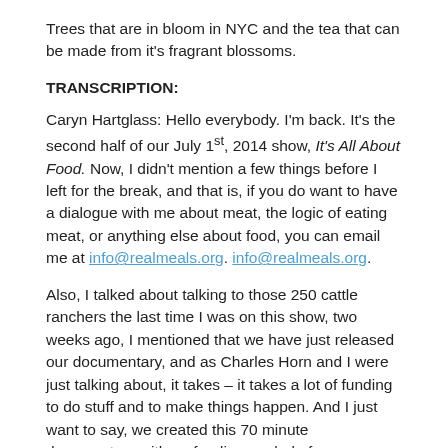Trees that are in bloom in NYC and the tea that can be made from it's fragrant blossoms.
TRANSCRIPTION:
Caryn Hartglass: Hello everybody. I'm back. It's the second half of our July 1st, 2014 show, It's All About Food. Now, I didn't mention a few things before I left for the break, and that is, if you do want to have a dialogue with me about meat, the logic of eating meat, or anything else about food, you can email me at info@realmeals.org. info@realmeals.org.
Also, I talked about talking to those 250 cattle ranchers the last time I was on this show, two weeks ago, I mentioned that we have just released our documentary, and as Charles Horn and I were just talking about, it takes – it takes a lot of funding to do stuff and to make things happen. And I just want to say, we created this 70 minute documentary with no funding, no help from anybody, but we just thought that this story of one lonely vegan going to talk to 250 cattle ranchers was too important not to tell.